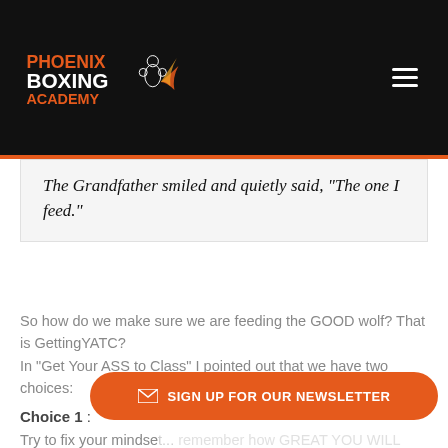Phoenix Boxing Academy
The Grandfather smiled and quietly said, "The one I feed."
So how do we make sure we are feeding the GOOD wolf? That is GettingYATC?
In "Get Your ASS to Class" I pointed out that we have two choices:
Choice 1 :
Try to fix your mindset... remember how GREAT YOU WILL FEEL after your class...
SIGN UP FOR OUR NEWSLETTER